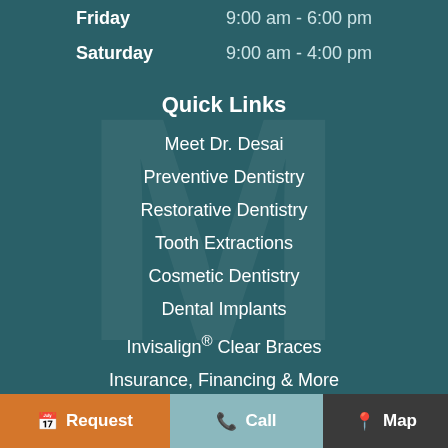| Day | Hours |
| --- | --- |
| Friday | 9:00 am - 6:00 pm |
| Saturday | 9:00 am - 4:00 pm |
Quick Links
Meet Dr. Desai
Preventive Dentistry
Restorative Dentistry
Tooth Extractions
Cosmetic Dentistry
Dental Implants
Invisalign® Clear Braces
Insurance, Financing & More
Request | Call | Map